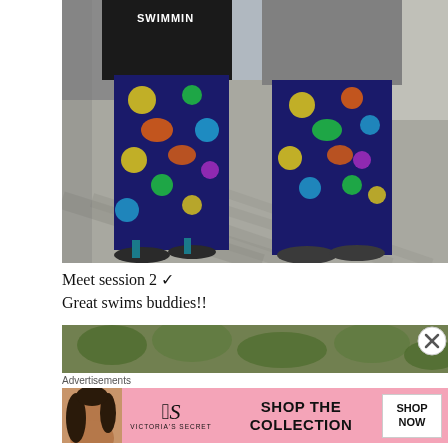[Figure (photo): Two people standing side by side wearing matching colorful patterned pants (dark navy with yellow, green, orange, and teal shapes) and flip-flop sandals. One person wears a black hoodie with 'SWIMMIN' text, the other wears a gray hoodie. They are outdoors on a sidewalk/pavement area.]
Meet session 2 ✓
Great swims buddies!!
[Figure (photo): Partial image of outdoor foliage/vegetation, cropped at the bottom of the visible area.]
Advertisements
[Figure (other): Victoria's Secret advertisement banner with pink background showing a woman's face on the left, the VS logo and 'VICTORIA'S SECRET' text in the center-left, 'SHOP THE COLLECTION' text in the middle, and a white 'SHOP NOW' button on the right.]